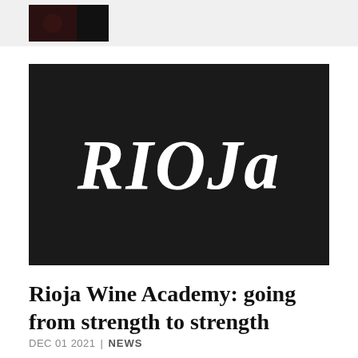[Figure (photo): Small dark thumbnail image in page header bar]
[Figure (logo): Black rectangular banner with large white italic serif text reading RIOJA]
Rioja Wine Academy: going from strength to strength
DEC 01 2021 | NEWS